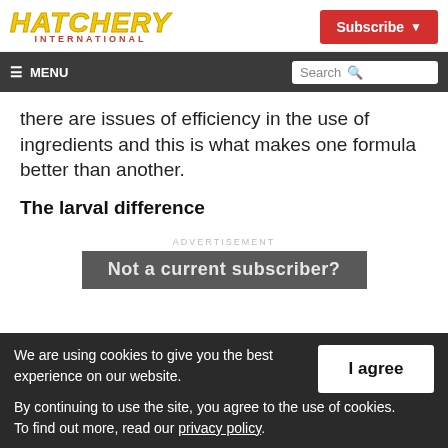HATCHERY INTERNATIONAL
Subscribe
☰ MENU | Search
there are issues of efficiency in the use of ingredients and this is what makes one formula better than another.
The larval difference
ADVERTISEMENT
[Figure (other): Advertisement box with partially visible text 'Not a current subscriber?']
We are using cookies to give you the best experience on our website.
By continuing to use the site, you agree to the use of cookies.
To find out more, read our privacy policy.
I agree